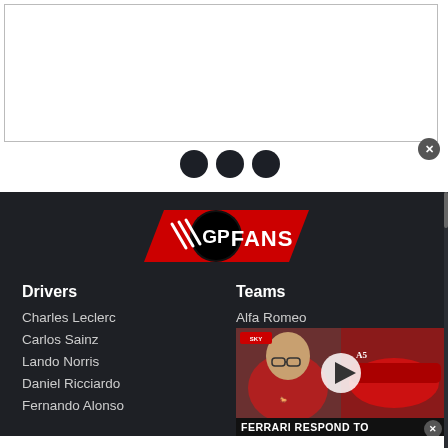[Figure (screenshot): White advertisement banner area with close button (X) in bottom-right corner]
[Figure (illustration): Three dark loading dots below the ad banner]
[Figure (logo): GPFans logo — checkered flag icon, GP in black circle, FANS text on red parallelogram background]
Drivers
Teams
Charles Leclerc
Carlos Sainz
Lando Norris
Daniel Ricciardo
Fernando Alonso
Alfa Romeo
[Figure (screenshot): Embedded video thumbnail showing a man in Ferrari red jacket, with a Ferrari F1 car on the right. Play button overlay. Red badge top-left. Bottom bar reads FERRARI RESPOND TO]
FERRARI RESPOND TO